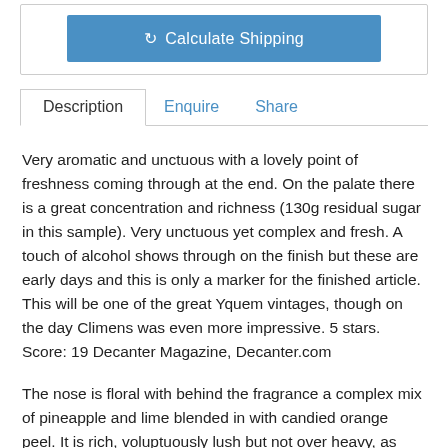[Figure (screenshot): Blue Calculate Shipping button with refresh icon]
Description | Enquire | Share (tab bar)
Very aromatic and unctuous with a lovely point of freshness coming through at the end. On the palate there is a great concentration and richness (130g residual sugar in this sample). Very unctuous yet complex and fresh. A touch of alcohol shows through on the finish but these are early days and this is only a marker for the finished article. This will be one of the great Yquem vintages, though on the day Climens was even more impressive. 5 stars. Score: 19 Decanter Magazine, Decanter.com
The nose is floral with behind the fragrance a complex mix of pineapple and lime blended in with candied orange peel. It is rich, voluptuously lush but not over heavy, as there is